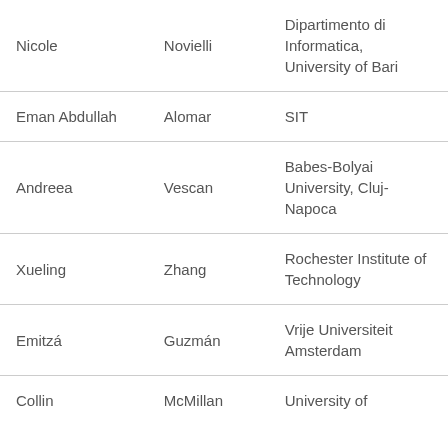| First Name | Last Name | Institution |
| --- | --- | --- |
| Nicole | Novielli | Dipartimento di Informatica, University of Bari |
| Eman Abdullah | Alomar | SIT |
| Andreea | Vescan | Babes-Bolyai University, Cluj-Napoca |
| Xueling | Zhang | Rochester Institute of Technology |
| Emitzá | Guzmán | Vrije Universiteit Amsterdam |
| Collin | McMillan | University of ... |